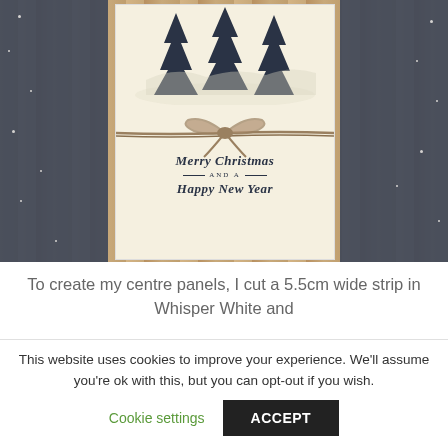[Figure (photo): Handmade Christmas card displayed on a wooden surface. The card has dark navy blue side panels with white dot star details, and a cream centre panel featuring stamped pine trees at the top, twine bow in the middle, and 'Merry Christmas AND A Happy New Year' text in dark ink at the bottom.]
To create my centre panels, I cut a 5.5cm wide strip in Whisper White and
This website uses cookies to improve your experience. We'll assume you're ok with this, but you can opt-out if you wish.
Cookie settings
ACCEPT